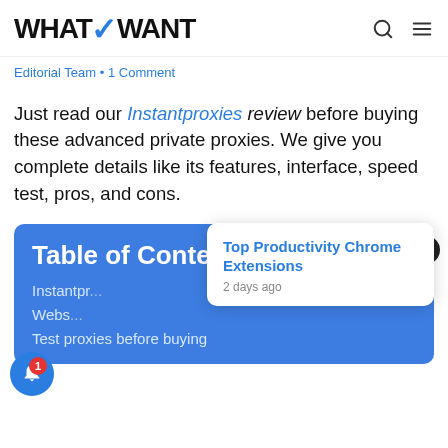WHATVWANT
Editorial Team • 1 Comment
Just read our Instantproxies review before buying these advanced private proxies. We give you complete details like its features, interface, speed test, pros, and cons.
Table of Contents
Instantpr...
Webs...
Test proxies before buying